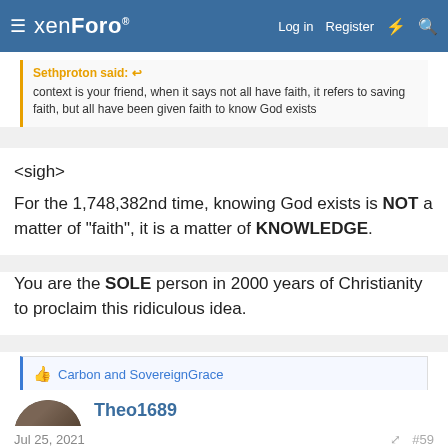xenForo  Log in  Register
Sethproton said:
context is your friend, when it says not all have faith, it refers to saving faith, but all have been given faith to know God exists
<sigh>
For the 1,748,382nd time, knowing God exists is NOT a matter of "faith", it is a matter of KNOWLEDGE.
You are the SOLE person in 2000 years of Christianity to proclaim this ridiculous idea.
Carbon and SovereignGrace
Theo1689
Well-known member
Jul 25, 2021  #59